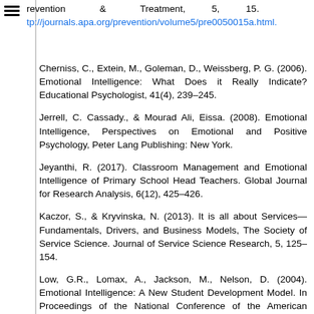evention & Treatment, 5, 15. tp://journals.apa.org/prevention/volume5/pre0050015a.html.
Cherniss, C., Extein, M., Goleman, D., Weissberg, P. G. (2006). Emotional Intelligence: What Does it Really Indicate? Educational Psychologist, 41(4), 239–245.
Jerrell, C. Cassady., & Mourad Ali, Eissa. (2008). Emotional Intelligence, Perspectives on Emotional and Positive Psychology, Peter Lang Publishing: New York.
Jeyanthi, R. (2017). Classroom Management and Emotional Intelligence of Primary School Head Teachers. Global Journal for Research Analysis, 6(12), 425–426.
Kaczor, S., & Kryvinska, N. (2013). It is all about Services—Fundamentals, Drivers, and Business Models, The Society of Service Science. Journal of Service Science Research, 5, 125–154.
Low, G.R., Lomax, A., Jackson, M., Nelson, D. (2004). Emotional Intelligence: A New Student Development Model. In Proceedings of the National Conference of the American College Personnel Association, Philadelphia.